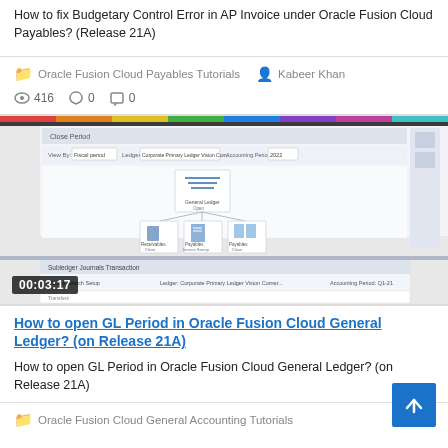How to fix Budgetary Control Error in AP Invoice under Oracle Fusion Cloud Payables? (Release 21A)
Oracle Fusion Cloud Payables Tutorials   Kabeer Khan
416   0   0
[Figure (screenshot): Screenshot of Oracle Fusion Cloud General Ledger interface showing journal entry hierarchy with subledger icons, and a second panel below showing a transaction listing. Timestamp 00:03:17 visible.]
How to open GL Period in Oracle Fusion Cloud General Ledger? (on Release 21A)
How to open GL Period in Oracle Fusion Cloud General Ledger? (on Release 21A)
Oracle Fusion Cloud General Accounting Tutorials